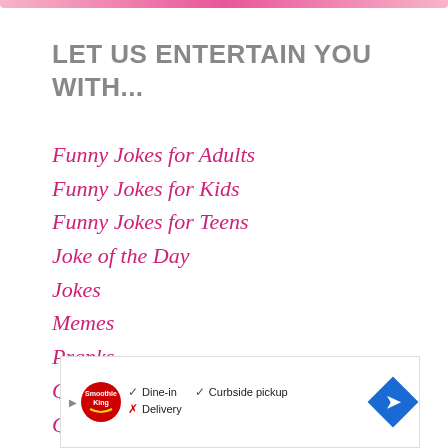LET US ENTERTAIN YOU WITH...
Funny Jokes for Adults
Funny Jokes for Kids
Funny Jokes for Teens
Joke of the Day
Jokes
Memes
Pranks
Questions
Quotes
[Figure (other): Advertisement banner for Smoothie King showing Dine-in, Curbside pickup available and Delivery not available, with a navigation arrow icon]